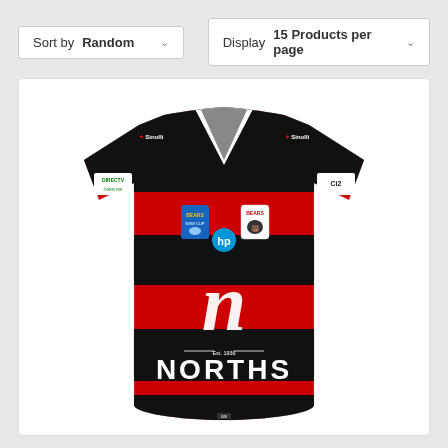Sort by Random
Display 15 Products per page
[Figure (photo): A red and black horizontally striped rugby league jersey (Norths Bears) with white V-collar, Sinolli branding on shoulders, HP sponsor logo on chest, BEARS club crest, and large NORTHS wordmark with cursive N logo on the front.]